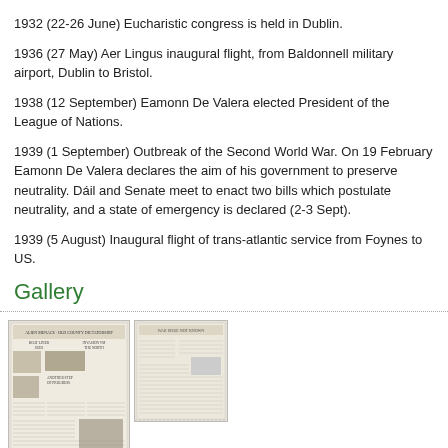1932 (22-26 June) Eucharistic congress is held in Dublin.
1936 (27 May) Aer Lingus inaugural flight, from Baldonnell military airport, Dublin to Bristol.
1938 (12 September) Eamonn De Valera elected President of the League of Nations.
1939 (1 September) Outbreak of the Second World War. On 19 February Eamonn De Valera declares the aim of his government to preserve neutrality. Dáil and Senate meet to enact two bills which postulate neutrality, and a state of emergency is declared (2-3 Sept).
1939 (5 August) Inaugural flight of trans-atlantic service from Foynes to US.
Gallery
[Figure (photo): Scanned newspaper front page, 1936 Irish newspaper]
[Figure (photo): Scanned newspaper page, wartime edition]
1936 Irish